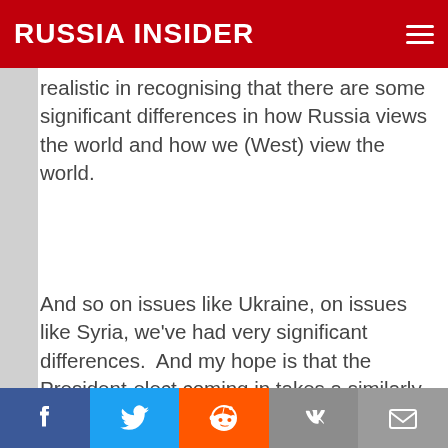RUSSIA INSIDER
realistic in recognising that there are some significant differences in how Russia views the world and how we (West) view the world.
And so on issues like Ukraine, on issues like Syria, we've had very significant differences.  And my hope is that the President-elect coming in takes a similarly constructive approach, finding areas where we can cooperate with Russia where our values and interests align, but that the President-elect also is willing to stand up to Russia where they are deviating from our values and